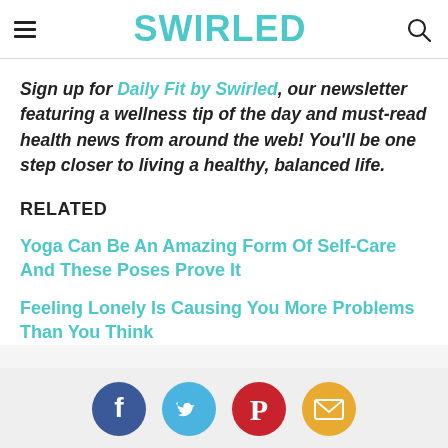SWIRLED
Sign up for Daily Fit by Swirled, our newsletter featuring a wellness tip of the day and must-read health news from around the web! You'll be one step closer to living a healthy, balanced life.
RELATED
Yoga Can Be An Amazing Form Of Self-Care And These Poses Prove It
Feeling Lonely Is Causing You More Problems Than You Think
[Figure (infographic): Social sharing buttons: Facebook (dark blue circle), Twitter (light blue circle), Pinterest (red circle), Email (orange circle)]